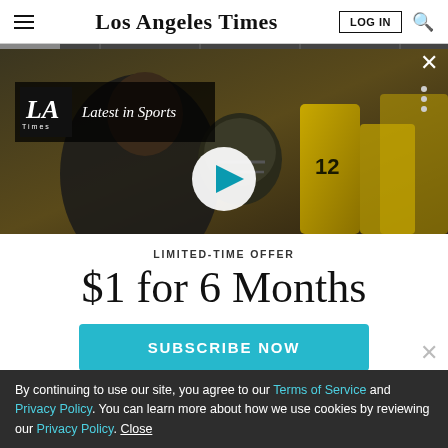Los Angeles Times — LOG IN, search
[Figure (screenshot): Video thumbnail showing football coach talking to player wearing helmet and yellow jersey number 12. Overlay shows LA Times logo and 'Latest in Sports' label with a play button.]
LIMITED-TIME OFFER
$1 for 6 Months
SUBSCRIBE NOW
By continuing to use our site, you agree to our Terms of Service and Privacy Policy. You can learn more about how we use cookies by reviewing our Privacy Policy. Close